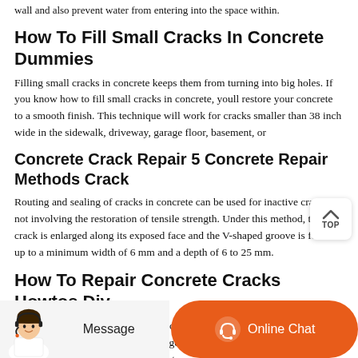wall and also prevent water from entering into the space within.
How To Fill Small Cracks In Concrete Dummies
Filling small cracks in concrete keeps them from turning into big holes. If you know how to fill small cracks in concrete, youll restore your concrete to a smooth finish. This technique will work for cracks smaller than 38 inch wide in the sidewalk, driveway, garage floor, basement, or
Concrete Crack Repair 5 Concrete Repair Methods Crack
Routing and sealing of cracks in concrete can be used for inactive cracks not involving the restoration of tensile strength. Under this method, the crack is enlarged along its exposed face and the V-shaped groove is formed up to a minimum width of 6 mm and a depth of 6 to 25 mm.
How To Repair Concrete Cracks Howtos Diy
Spread Concrete Patch. To use the concrete filler, cut the nozzle off the bottle and slowly fill the cracks image 1. If youre using mixed concrete patch, mix according to the manufacturers direction and then trowel the